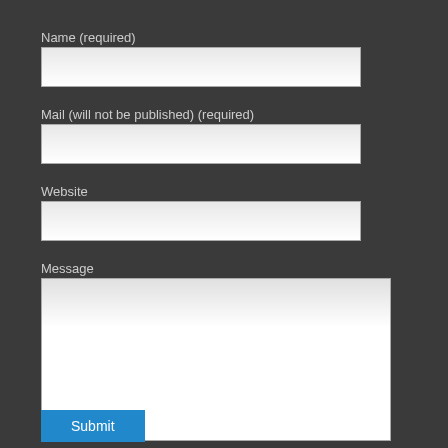Name (required)
[Figure (other): Text input field for Name]
Mail (will not be published) (required)
[Figure (other): Text input field for Mail]
Website
[Figure (other): Text input field for Website]
Message
[Figure (other): Textarea input field for Message]
Submit